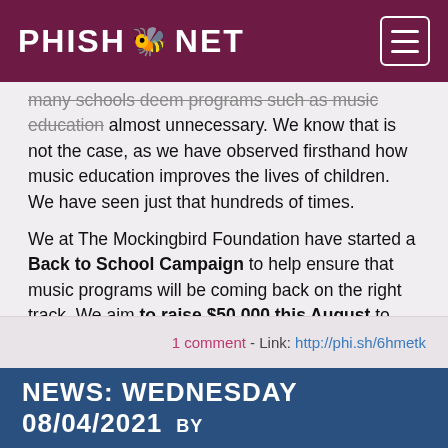PHISH.NET
many schools deem programs such as music education almost unnecessary. We know that is not the case, as we have observed firsthand how music education improves the lives of children. We have seen just that hundreds of times.

We at The Mockingbird Foundation have started a Back to School Campaign to help ensure that music programs will be coming back on the right track. We aim to raise $50,000 this August to help support children's music education throughout the country. An incredibly generous donor has agreed to match the first $25,000 of donations, and a donation of any amount will help us reach our goal. Thank you.
1 comment - Link: http://phi.sh/6hmetk
NEWS: WEDNESDAY 08/04/2021 BY